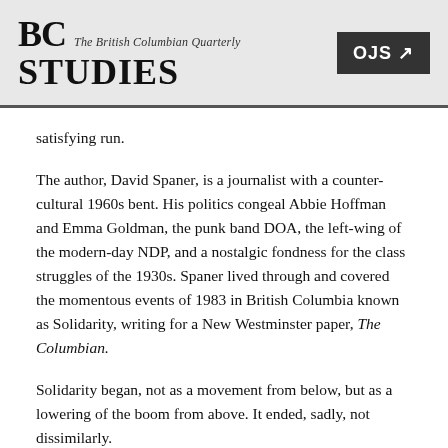BC STUDIES The British Columbian Quarterly | OJS
satisfying run.
The author, David Spaner, is a journalist with a counter-cultural 1960s bent. His politics congeal Abbie Hoffman and Emma Goldman, the punk band DOA, the left-wing of the modern-day NDP, and a nostalgic fondness for the class struggles of the 1930s. Spaner lived through and covered the momentous events of 1983 in British Columbia known as Solidarity, writing for a New Westminster paper, The Columbian.
Solidarity began, not as a movement from below, but as a lowering of the boom from above. It ended, sadly, not dissimilarly.
Almost 40 years ago, a Social Credit government led by Bill Bennett introduced 26 pieces of legislation that dismantled